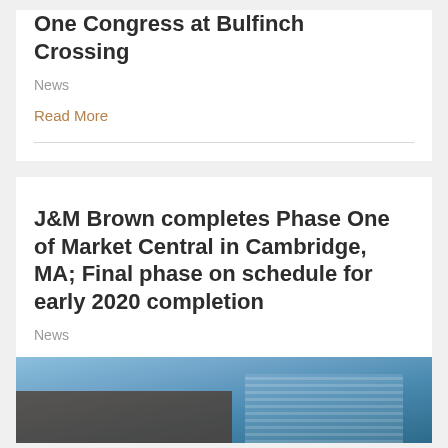One Congress at Bulfinch Crossing
News
Read More
J&M Brown completes Phase One of Market Central in Cambridge, MA; Final phase on schedule for early 2020 completion
News
[Figure (photo): Architectural photo of a modern building, showing a tall building with a grid-like glass facade against a blue sky, with darker foreground structure.]